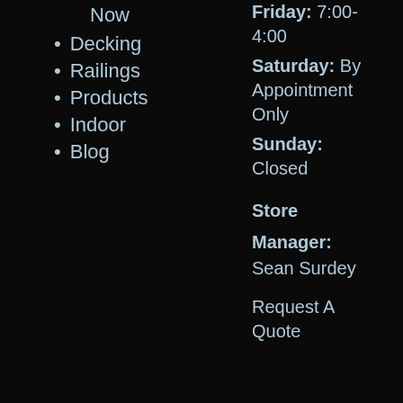Now
Decking
Railings
Products
Indoor
Blog
Friday: 7:00-4:00
Saturday: By Appointment Only
Sunday: Closed
Store Manager: Sean Surdey
Request A Quote